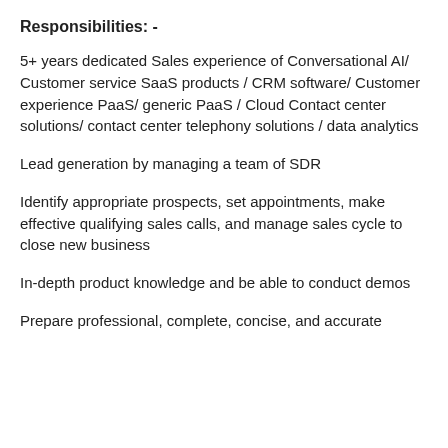Responsibilities: -
5+ years dedicated Sales experience of Conversational AI/ Customer service SaaS products / CRM software/ Customer experience PaaS/ generic PaaS / Cloud Contact center solutions/ contact center telephony solutions / data analytics
Lead generation by managing a team of SDR
Identify appropriate prospects, set appointments, make effective qualifying sales calls, and manage sales cycle to close new business
In-depth product knowledge and be able to conduct demos
Prepare professional, complete, concise, and accurate